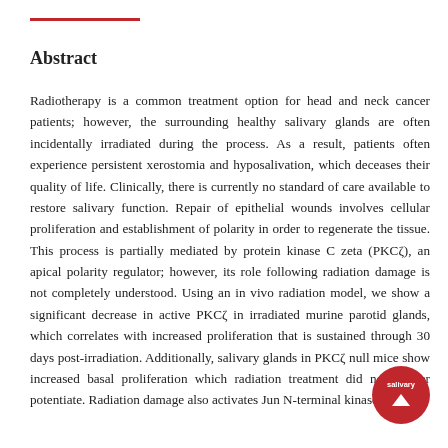Abstract
Radiotherapy is a common treatment option for head and neck cancer patients; however, the surrounding healthy salivary glands are often incidentally irradiated during the process. As a result, patients often experience persistent xerostomia and hyposalivation, which deceases their quality of life. Clinically, there is currently no standard of care available to restore salivary function. Repair of epithelial wounds involves cellular proliferation and establishment of polarity in order to regenerate the tissue. This process is partially mediated by protein kinase C zeta (PKCζ), an apical polarity regulator; however, its role following radiation damage is not completely understood. Using an in vivo radiation model, we show a significant decrease in active PKCζ in irradiated murine parotid glands, which correlates with increased proliferation that is sustained through 30 days post-irradiation. Additionally, salivary glands in PKCζ null mice show increased basal proliferation which radiation treatment did not further potentiate. Radiation damage also activates Jun N-terminal kinase (JNK), a